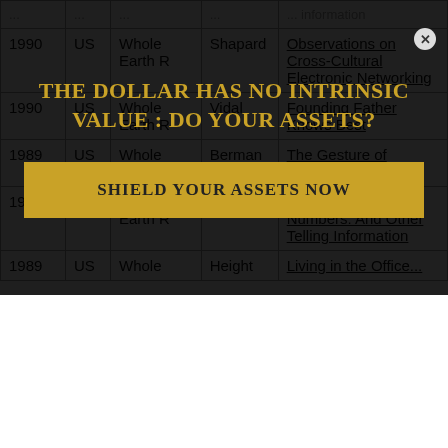| Year | Country | Publication | Author | Title |
| --- | --- | --- | --- | --- |
| 1990 | US | Whole Earth R | Shapard | Observations on Cross-Cultural Electronic Networking |
| 1990 | US | Whole Earth R | Vidal | Founding Father Knows Best |
| 1989 | US | Whole Earth R | Berman | The Gesture of Balance |
| 1989 | US | Whole Earth R | Garfinkle | Social Security Numbers: And Other Telling Information |
| 1989 | US | Whole |  | Living in the Office... |
THE DOLLAR HAS NO INTRINSIC VALUE : DO YOUR ASSETS?
SHIELD YOUR ASSETS NOW